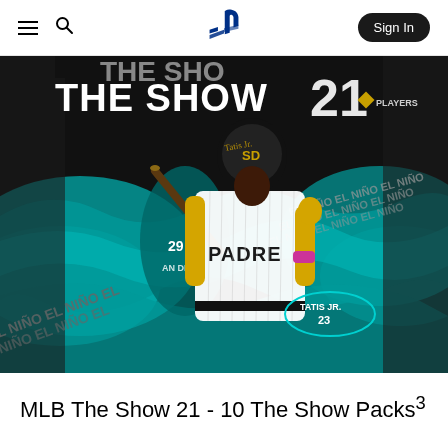PlayStation navigation bar with hamburger menu, search icon, PlayStation logo, and Sign In button
[Figure (photo): MLB The Show 21 game cover art featuring Fernando Tatis Jr. in San Diego Padres uniform (#23) with yellow batting gloves, making a peace sign gesture. Dark background with teal/turquoise torn paper effect. Text reads 'THE SHOW 21' at top with PLAYERS logo. 'EL NIÑO EL NIÑO' text repeated in background. Number 29 visible on batting practice silhouette. 'TATIS JR. 23' shown in oval badge.]
MLB The Show 21 - 10 The Show Packs³